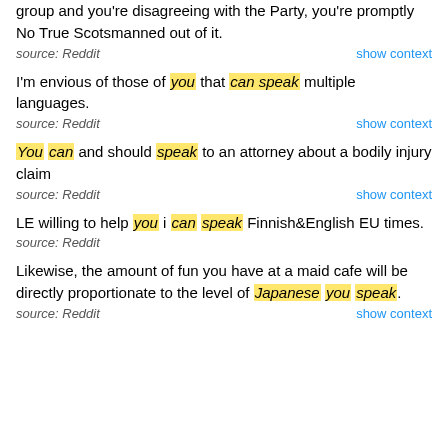group and you're disagreeing with the Party, you're promptly No True Scotsmanned out of it.
source: Reddit
I'm envious of those of you that can speak multiple languages.
source: Reddit
You can and should speak to an attorney about a bodily injury claim
source: Reddit
LE willing to help you i can speak Finnish&English EU times.
source: Reddit
Likewise, the amount of fun you have at a maid cafe will be directly proportionate to the level of Japanese you speak.
source: Reddit